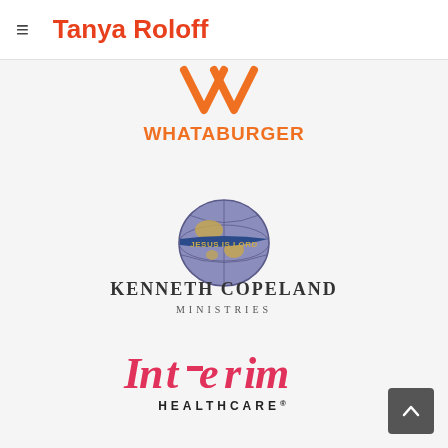Tanya Roloff
[Figure (logo): Whataburger logo — orange boomerang/W shapes above orange text WHATABURGER]
[Figure (logo): Kenneth Copeland Ministries logo — globe with 'Jesus is Lord' banner and text Kenneth Copeland Ministries]
[Figure (logo): Interim HealthCare logo — pink/red stylized text 'Int-erim' with black HEALTHCARE below]